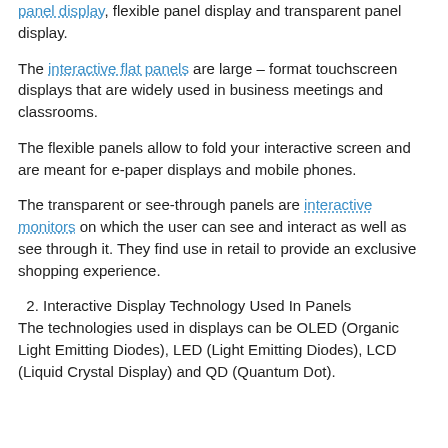panel display, flexible panel display and transparent panel display.
The interactive flat panels are large – format touchscreen displays that are widely used in business meetings and classrooms.
The flexible panels allow to fold your interactive screen and are meant for e-paper displays and mobile phones.
The transparent or see-through panels are interactive monitors on which the user can see and interact as well as see through it. They find use in retail to provide an exclusive shopping experience.
2. Interactive Display Technology Used In Panels
The technologies used in displays can be OLED (Organic Light Emitting Diodes), LED (Light Emitting Diodes), LCD (Liquid Crystal Display) and QD (Quantum Dot).